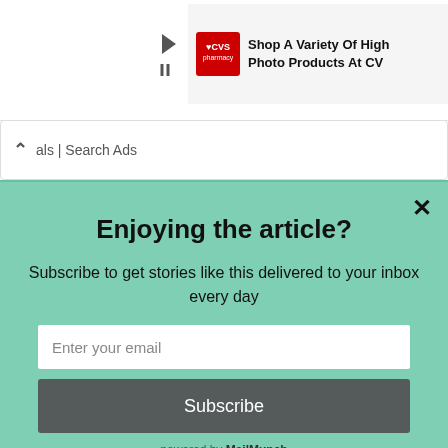[Figure (screenshot): CVS Pharmacy ad banner partially visible at top right: red CVS pharmacy logo, text 'Shop A Variety Of High Photo Products At CV']
als | Search Ads
Enjoying the article?
Subscribe to get stories like this delivered to your inbox every day
Enter your email
Subscribe
powered by MailMunch